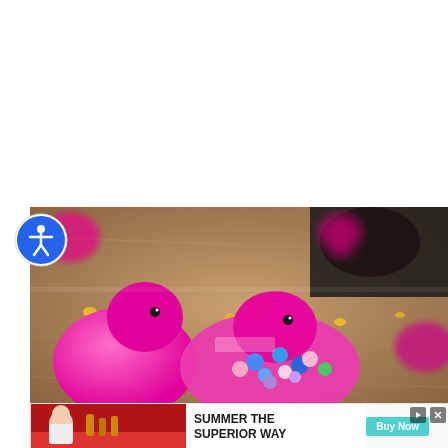[Figure (photo): Close-up photo of pink Peeps marshmallow candy chicks scattered on a wooden surface, with some containing colorful candy decorations (blue, pink, white). Yellow candy pieces visible on the surface. Bokeh background with more pink Peeps.]
[Figure (photo): Accessibility icon button (blue circle with white person/wheelchair symbol) overlaid on the top-left corner of the main photo.]
[Figure (photo): Advertisement banner at bottom: video thumbnail on the left showing a person at a table with bottles, and text reading 'SUMMER THE SUPERIOR WAY' with a 'Buy Now' teal button on the right.]